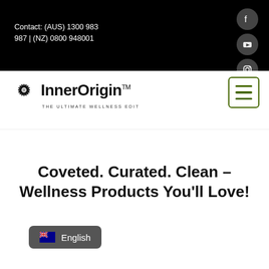Contact: (AUS) 1300 983 987 | (NZ) 0800 948001
[Figure (logo): InnerOrigin logo with mandala flower icon and tagline THE ULTIMATE WELLNESS EDIT]
[Figure (other): Hamburger menu button with green border]
Coveted. Curated. Clean – Wellness Products You'll Love!
English (Australian flag icon)